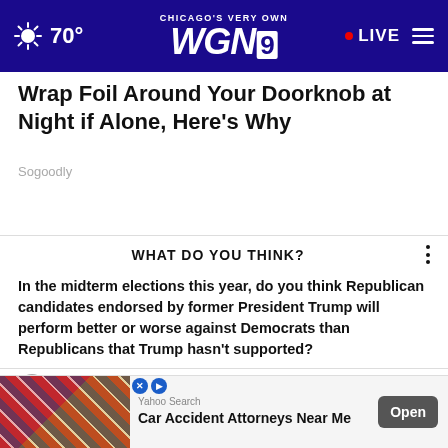70° Chicago's Very Own WGN9 • LIVE
Wrap Foil Around Your Doorknob at Night if Alone, Here's Why
Sogoodly
WHAT DO YOU THINK?
In the midterm elections this year, do you think Republican candidates endorsed by former President Trump will perform better or worse against Democrats than Republicans that Trump hasn't supported?
Much better
Somewhat better
A...
S...
[Figure (screenshot): Yahoo Search ad banner: Car Accident Attorneys Near Me, with Open button]